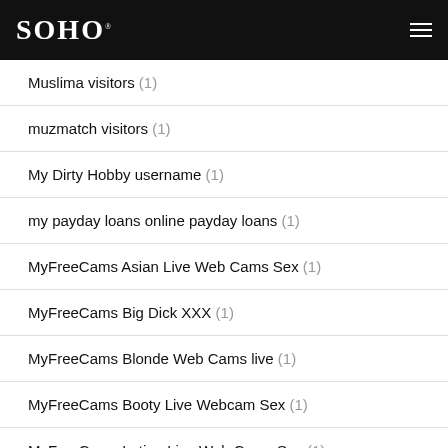SOHO
Muslima visitors (1)
muzmatch visitors (1)
My Dirty Hobby username (1)
my payday loans online payday loans (1)
MyFreeCams Asian Live Web Cams Sex (1)
MyFreeCams Big Dick XXX (1)
MyFreeCams Blonde Web Cams live (1)
MyFreeCams Booty Live Webcam Sex (1)
MyFreeCams Latina Live Web Cams Sex (1)